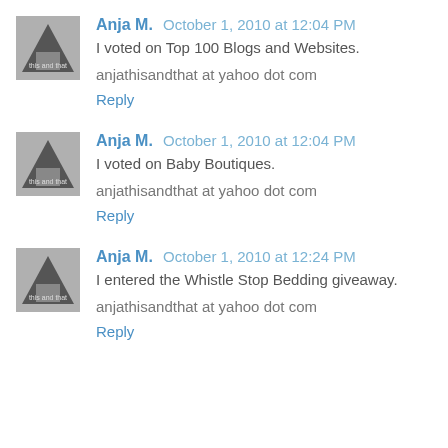Anja M. October 1, 2010 at 12:04 PM
I voted on Top 100 Blogs and Websites.
anjathisandthat at yahoo dot com
Reply
Anja M. October 1, 2010 at 12:04 PM
I voted on Baby Boutiques.
anjathisandthat at yahoo dot com
Reply
Anja M. October 1, 2010 at 12:24 PM
I entered the Whistle Stop Bedding giveaway.
anjathisandthat at yahoo dot com
Reply